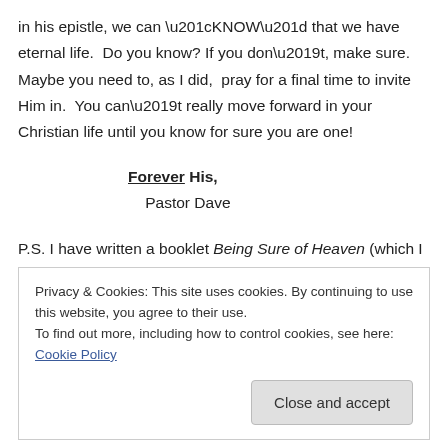in his epistle, we can “KNOW” that we have eternal life.  Do you know? If you don’t, make sure. Maybe you need to, as I did,  pray for a final time to invite Him in.  You can’t really move forward in your Christian life until you know for sure you are one!
Forever His,
Pastor Dave
P.S. I have written a booklet Being Sure of Heaven (which I hope to have published). I would be glad to send you, via email, a copy of the manuscript if you’d like. Just let me know.
Privacy & Cookies: This site uses cookies. By continuing to use this website, you agree to their use.
To find out more, including how to control cookies, see here: Cookie Policy
Close and accept